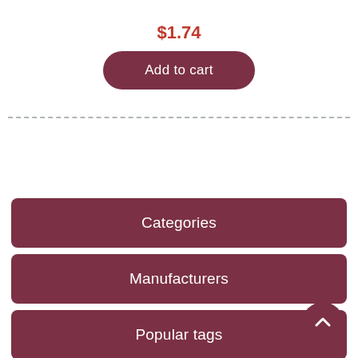$1.74
Add to cart
Categories
Manufacturers
Popular tags